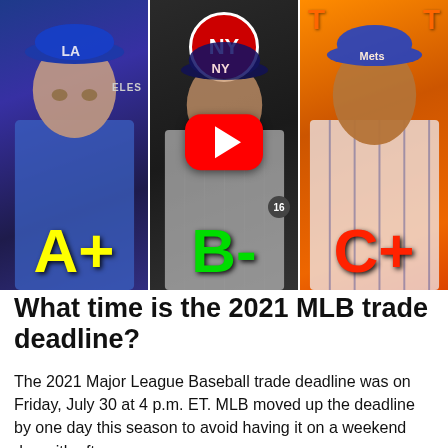[Figure (photo): YouTube video thumbnail showing three MLB players (Dodgers, Yankees, Mets) side by side with grade letters A+, B-, C+ and a YouTube play button overlay in the center]
What time is the 2021 MLB trade deadline?
The 2021 Major League Baseball trade deadline was on Friday, July 30 at 4 p.m. ET. MLB moved up the deadline by one day this season to avoid having it on a weekend day with afternoon games.